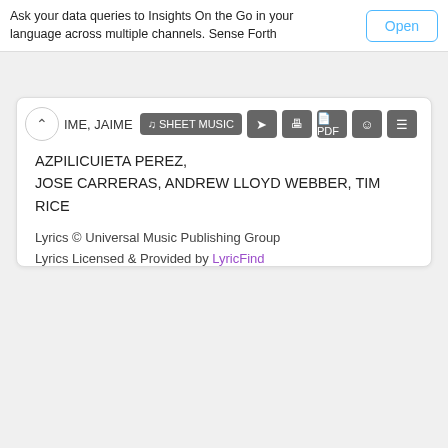Ask your data queries to Insights On the Go in your language across multiple channels. Sense Forth
[Figure (screenshot): Lyrics page screenshot showing toolbar with SHEET MUSIC button and icons, author credits for JAIME AZPILICUIETA PEREZ, JOSE CARRERAS, ANDREW LLOYD WEBBER, TIM RICE, and copyright info with LyricFind link]
AZPILICUIETA PEREZ, JOSE CARRERAS, ANDREW LLOYD WEBBER, TIM RICE
Lyrics © Universal Music Publishing Group
Lyrics Licensed & Provided by LyricFind